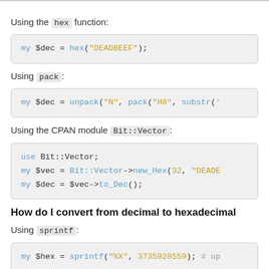Using the hex function:
[Figure (screenshot): Code block: my $dec = hex("DEADBEEF");]
Using pack:
[Figure (screenshot): Code block: my $dec = unpack("N", pack("H8", substr('...]
Using the CPAN module Bit::Vector:
[Figure (screenshot): Code block: use Bit::Vector; my $vec = Bit::Vector->new_Hex(32, "DEADE...  my $dec = $vec->to_Dec();]
How do I convert from decimal to hexadecimal
Using sprintf:
[Figure (screenshot): Code block: my $hex = sprintf("%X", 3735928559); # up...]